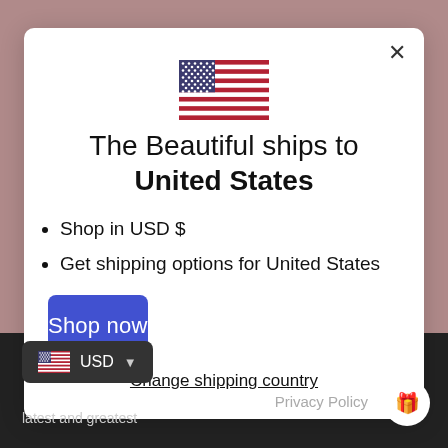[Figure (illustration): US flag emoji/icon centered at the top of the modal]
The Beautiful ships to United States
Shop in USD $
Get shipping options for United States
Shop now
Change shipping country
USD
pick the latest and greatest
Privacy Policy